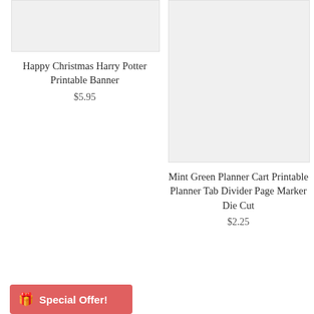[Figure (photo): Thumbnail image placeholder (light gray) for Happy Christmas Harry Potter Printable Banner product]
Happy Christmas Harry Potter Printable Banner
$5.95
[Figure (photo): Thumbnail image placeholder (light gray) for Mint Green Planner Cart Printable Planner Tab Divider Page Marker Die Cut product]
Mint Green Planner Cart Printable Planner Tab Divider Page Marker Die Cut
$2.25
Special Offer!